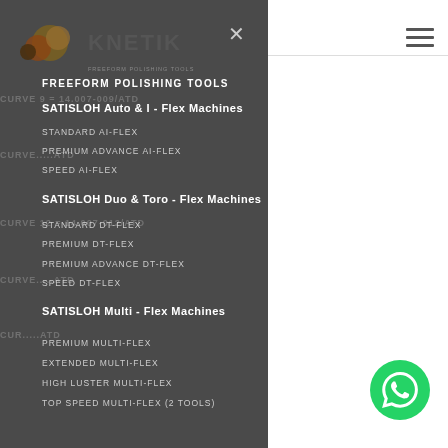[Figure (logo): KNETIK logo with colored circles and text KNETIK FREEFORM POLISHING TOOLS]
FREEFORM POLISHING TOOLS
SATISLOH Auto & I - Flex Machines
STANDARD AI-FLEX
PREMIUM ADVANCE AI-FLEX
SPEED AI-FLEX
SATISLOH Duo & Toro - Flex Machines
STANDARD DT-FLEX
PREMIUM DT-FLEX
PREMIUM ADVANCE DT-FLEX
SPEED DT-FLEX
SATISLOH Multi - Flex Machines
PREMIUM MULTI-FLEX
EXTENDED MULTI-FLEX
HIGH LUSTER MULTI-FLEX
TOP SPEED MULTI-FLEX (2 TOOLS)